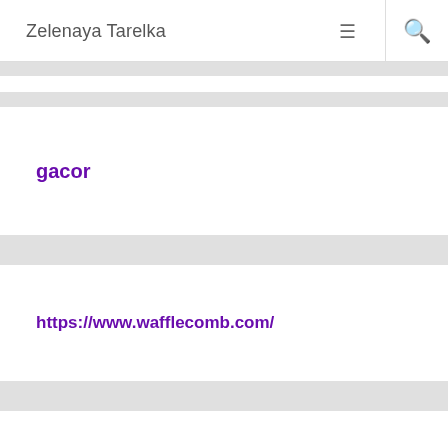Zelenaya Tarelka
gacor
https://www.wafflecomb.com/
rtp slot